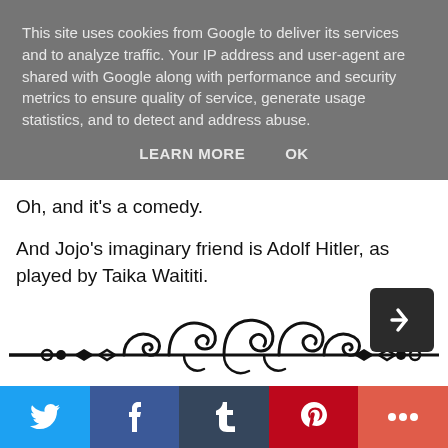This site uses cookies from Google to deliver its services and to analyze traffic. Your IP address and user-agent are shared with Google along with performance and security metrics to ensure quality of service, generate usage statistics, and to detect and address abuse.
LEARN MORE    OK
Oh, and it's a comedy.
And Jojo's imaginary friend is Adolf Hitler, as played by Taika Waititi.
[Figure (illustration): Decorative ornamental divider with swirling floral scrollwork pattern in black]
[Figure (infographic): Social sharing bar with Twitter (blue), Facebook (dark blue), Tumblr (dark navy), Pinterest (red), and More (coral/orange-red) buttons]